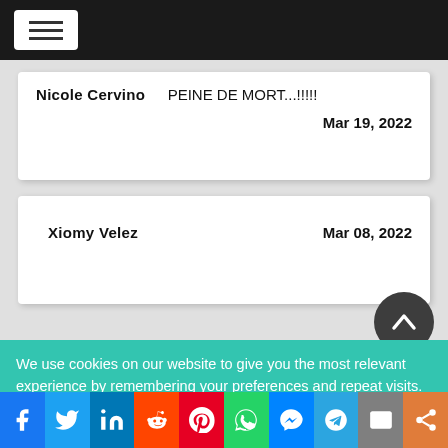Navigation bar with hamburger menu
Nicole Cervino   PEINE DE MORT...!!!!! Mar 19, 2022
Xiomy Velez   Mar 08, 2022
We use cookies on our website to give you the most relevant experience by remembering your preferences and repeat visits.
Social share bar: Facebook, Twitter, LinkedIn, Reddit, Pinterest, WhatsApp, Messenger, Telegram, Email, Share